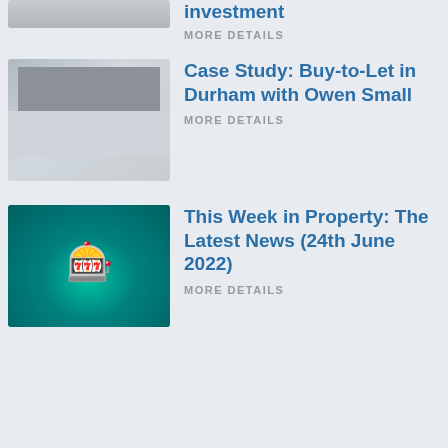[Figure (photo): Partial view of a calculator or financial device, cropped at top of page]
investment
MORE DETAILS
[Figure (photo): Modern kitchen with grey cabinets and white countertop]
Case Study: Buy-to-Let in Durham with Owen Small
MORE DETAILS
[Figure (photo): Casino slot machine imagery with coins and chips on teal background]
This Week in Property: The Latest News (24th June 2022)
MORE DETAILS